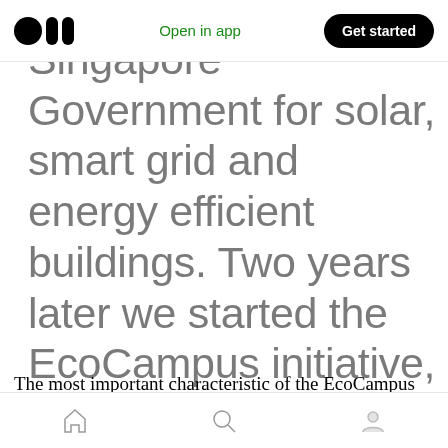Open in app | Get started
Singapore Government for solar, smart grid and energy efficient buildings. Two years later we started the EcoCampus initiative, a living laboratory for innovative clean technology solutions.
The most important characteristic of the EcoCampus initiative is that each technology
Home | Search | Profile